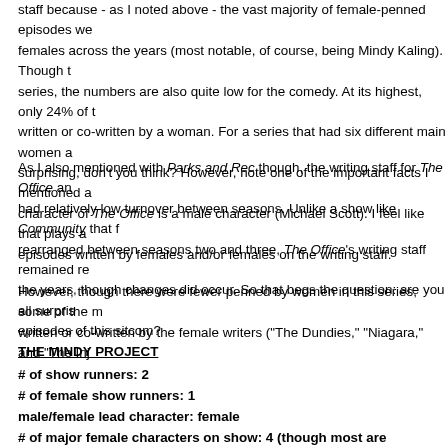staff because - as I noted above - the vast majority of female-penned episodes we females across the years (most notable, of course, being Mindy Kaling). Though t series, the numbers are also quite low for the comedy. At its highest, only 24% of written or co-written by a woman. For a series that had six different main women a surprising, don't you think? However, note one of the important facts I mentioned a character of The Office is a male character (Michael Scott). I feel like that plays a episodes written by females and/or females on the writing staff.
As I also mentioned with Parks and Rec though, the writing staff for The Office an had relatively low turnover between seasons. Unlike a show like Community that f rearranged between seasons two and three, The Office's writing staff remained re the years, though changes did occur. So that begs the question: are you all surpris episodes of this sitcom?
However, though there were fewer penned by women in this series, some of the m written or co-written by the female writers ("The Dundies," "Niagara," and "The Inj
THE MINDY PROJECT
# of show runners: 2
# of female show runners: 1
male/female lead character: female
# of major female characters on show: 4 (though most are supporting)